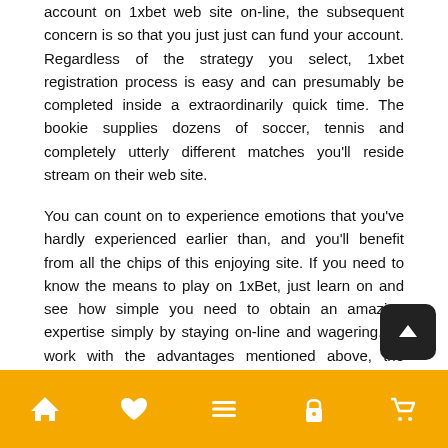account on 1xbet web site on-line, the subsequent concern is so that you just just can fund your account. Regardless of the strategy you select, 1xbet registration process is easy and can presumably be completed inside a extraordinarily quick time. The bookie supplies dozens of soccer, tennis and completely utterly different matches you'll reside stream on their web site.
You can count on to experience emotions that you've hardly experienced earlier than, and you'll benefit from all the chips of this enjoying site. If you need to know the means to play on 1xBet, just learn on and see how simple you need to obtain an amazing expertise simply by staying on-line and wagering. To work with the advantages mentioned above, the participant ought to actually full the registration course of. You need to decide on any, the whole process would not take lots of time and you'll move to 1xBet login very quickly.
Once full, 1xBet will ship you the account particulars to the cellphone quantity you outfitted and you may proceed from. In actuality, 1XBet was among the many first bookies that allowed
[Figure (other): Orange bottom navigation bar with 5 white icons: home, heart/favorite, hamburger menu, lock, and shopping basket/cart. A dark rounded back-to-top button with an up arrow is positioned above the bar on the right side.]